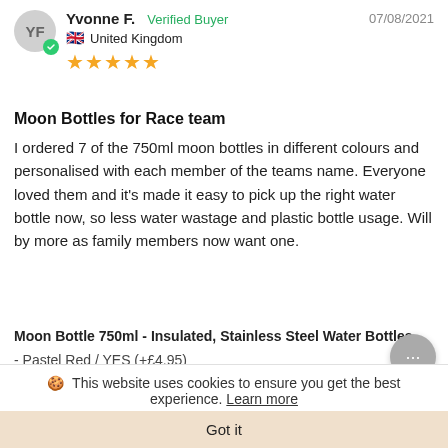Yvonne F. Verified Buyer 07/08/2021 United Kingdom ★★★★★
Moon Bottles for Race team
I ordered 7 of the 750ml moon bottles in different colours and personalised with each member of the teams name. Everyone loved them and it's made it easy to pick up the right water bottle now, so less water wastage and plastic bottle usage. Will by more as family members now want one.
Moon Bottle 750ml - Insulated, Stainless Steel Water Bottles
- Pastel Red / YES (+£4.95)
Share   Was this helpful? 0  0
Moon Bottles  07/08/2021
🍪 This website uses cookies to ensure you get the best experience. Learn more
Got it